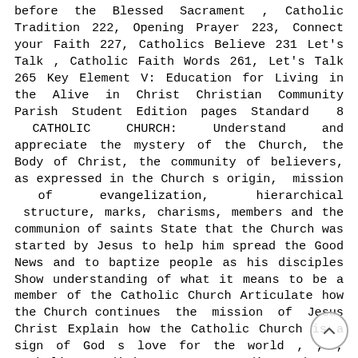before the Blessed Sacrament , Catholic Tradition 222, Opening Prayer 223, Connect your Faith 227, Catholics Believe 231 Let's Talk , Catholic Faith Words 261, Let's Talk 265 Key Element V: Education for Living in the Alive in Christ Christian Community Parish Student Edition pages Standard 8 CATHOLIC CHURCH: Understand and appreciate the mystery of the Church, the Body of Christ, the community of believers, as expressed in the Church s origin, mission of evangelization, hierarchical structure, marks, charisms, members and the communion of saints State that the Church was started by Jesus to help him spread the Good News and to baptize people as his disciples Show understanding of what it means to be a member of the Catholic Church Articulate how the Church continues the mission of Jesus Christ Explain how the Catholic Church is a sign of God s love for the world , , , Catholic Tradition 188, 256; God's Word 199; Catholics Believe 197, 275; Let's Talk 275 We Believe , , , Catholic Faith Basics Catholic Faith Words , , Catholic Tradition 188, 256; God's Word 199; Catholics Believe 197, 275; Let's Talk 275 Also refer to the Catholic Social Teaching , , , Catholic Tradition 188, 256; God's Word 199; Catholics Believe 197, 275; Let's Talk 275; Also refer to the Catholic